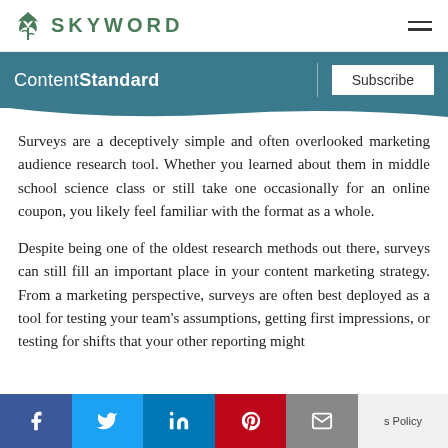SKYWORD
[Figure (logo): Skyword logo with green plant/leaf icon and text SKYWORD in green uppercase letters]
ContentStandard | Subscribe
Surveys are a deceptively simple and often overlooked marketing audience research tool. Whether you learned about them in middle school science class or still take one occasionally for an online coupon, you likely feel familiar with the format as a whole.
Despite being one of the oldest research methods out there, surveys can still fill an important place in your content marketing strategy. From a marketing perspective, surveys are often best deployed as a tool for testing your team's assumptions, getting first impressions, or testing for shifts that your other reporting might
f  Twitter  in  Pinterest  Email  s Policy